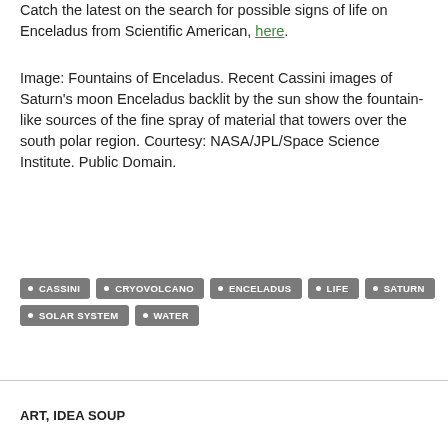Catch the latest on the search for possible signs of life on Enceladus from Scientific American, here.
Image: Fountains of Enceladus. Recent Cassini images of Saturn's moon Enceladus backlit by the sun show the fountain-like sources of the fine spray of material that towers over the south polar region. Courtesy: NASA/JPL/Space Science Institute. Public Domain.
CASSINI
CRYOVOLCANO
ENCELADUS
LIFE
SATURN
SOLAR SYSTEM
WATER
ART, IDEA SOUP